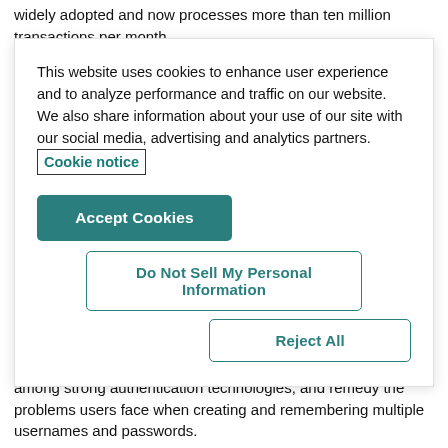widely adopted and now processes more than ten million transactions per month.
This website uses cookies to enhance user experience and to analyze performance and traffic on our website. We also share information about your use of our site with our social media, advertising and analytics partners. Cookie notice
Accept Cookies
Do Not Sell My Personal Information
Reject All
solution is compliant with the FIDO (Fast Identity Online) protocol, designed to address the lack of interoperability among strong authentication technologies, and remedy the problems users face when creating and remembering multiple usernames and passwords.